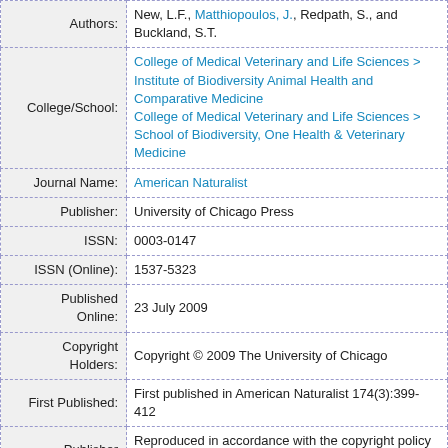| Field | Value |
| --- | --- |
| Authors: | New, L.F., Matthiopoulos, J., Redpath, S., and Buckland, S.T. |
| College/School: | College of Medical Veterinary and Life Sciences > Institute of Biodiversity Animal Health and Comparative Medicine
College of Medical Veterinary and Life Sciences > School of Biodiversity, One Health & Veterinary Medicine |
| Journal Name: | American Naturalist |
| Publisher: | University of Chicago Press |
| ISSN: | 0003-0147 |
| ISSN (Online): | 1537-5323 |
| Published Online: | 23 July 2009 |
| Copyright Holders: | Copyright © 2009 The University of Chicago |
| First Published: | First published in American Naturalist 174(3):399-412 |
| Publisher | Reproduced in accordance with the copyright policy o |